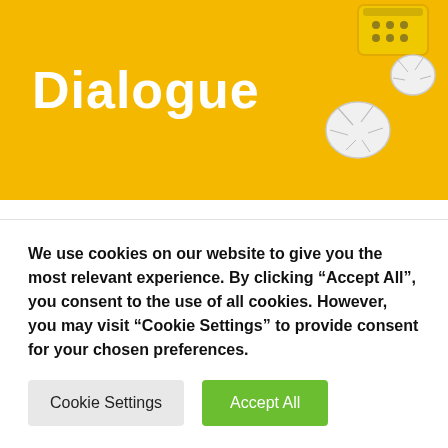[Figure (photo): Yellow/golden banner image with the word 'Dialogue' in white bold text on the left, and crumpled paper balls and a yellow pencil case visible on the right side of the image.]
Writing dialogue convincingly in a screenplay can feel like a challenge, but if you can master writing dialogue, it can help take your script from mediocre
We use cookies on our website to give you the most relevant experience. By clicking “Accept All”, you consent to the use of all cookies. However, you may visit "Cookie Settings" to provide consent for your chosen preferences.